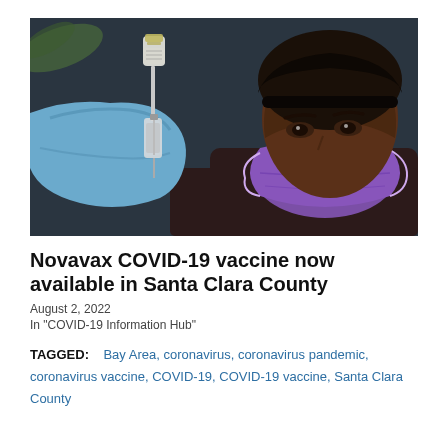[Figure (photo): A healthcare worker wearing blue gloves and a purple face mask examines a vaccine vial held up in one hand against a dark background.]
Novavax COVID-19 vaccine now available in Santa Clara County
August 2, 2022
In "COVID-19 Information Hub"
TAGGED: Bay Area, coronavirus, coronavirus pandemic, coronavirus vaccine, COVID-19, COVID-19 vaccine, Santa Clara County